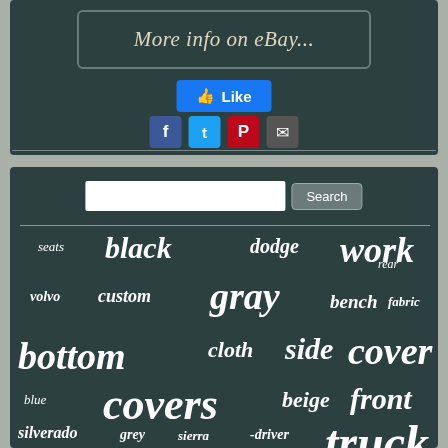[Figure (screenshot): eBay listing button with italic text 'More info on eBay...' in a dark teal rounded rectangle]
[Figure (screenshot): Facebook Like button in blue]
[Figure (screenshot): Social media sharing icons: Facebook, Twitter, Pinterest, Email]
[Figure (screenshot): Search bar with text input and Search button on dark teal background]
[Figure (infographic): Tag cloud with words: seats, black, dodge, work, rear, volvo, custom, gray, bench, fabric, bottom, cloth, side, cover, covers, blue, beige, front, silverado, grey, sierra, -driver, truck, and partially visible words at bottom]